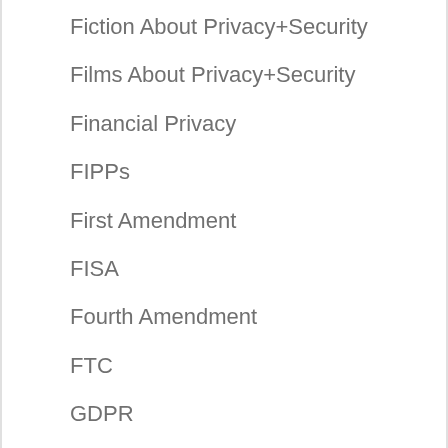Fiction About Privacy+Security
Films About Privacy+Security
Financial Privacy
FIPPs
First Amendment
FISA
Fourth Amendment
FTC
GDPR
GDPR Compliance
GDPR Training
Genetic Privacy